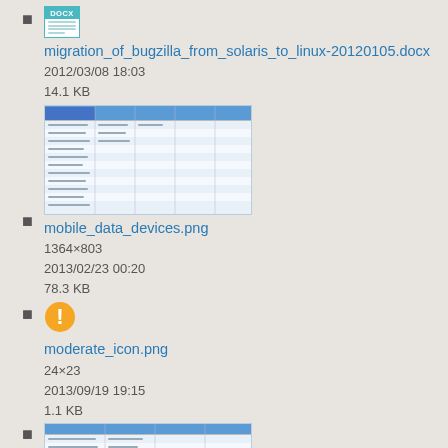migration_of_bugzilla_from_solaris_to_linux-20120105.docx
2012/03/08 18:03
14.1 KB
mobile_data_devices.png
1364×803
2013/02/23 00:20
78.3 KB
moderate_icon.png
24×23
2013/09/19 19:15
1.1 KB
ncureport.png
1255×334